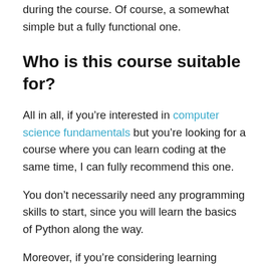during the course. Of course, a somewhat simple but a fully functional one.
Who is this course suitable for?
All in all, if you’re interested in computer science fundamentals but you’re looking for a course where you can learn coding at the same time, I can fully recommend this one.
You don’t necessarily need any programming skills to start, since you will learn the basics of Python along the way.
Moreover, if you’re considering learning Python and perhaps building web applications in the future, this course should be a great place to start. Python is an